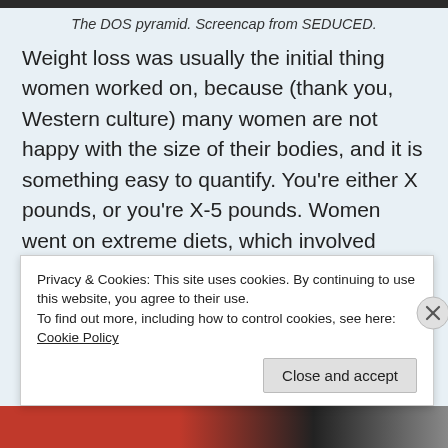The DOS pyramid. Screencap from SEDUCED.
Weight loss was usually the initial thing women worked on, because (thank you, Western culture) many women are not happy with the size of their bodies, and it is something easy to quantify. You’re either X pounds, or you’re X-5 pounds. Women went on extreme diets, which involved asking their Master’s permission to eat anything. Whatever they were going to eat, they had to
Privacy & Cookies: This site uses cookies. By continuing to use this website, you agree to their use.
To find out more, including how to control cookies, see here: Cookie Policy
Close and accept